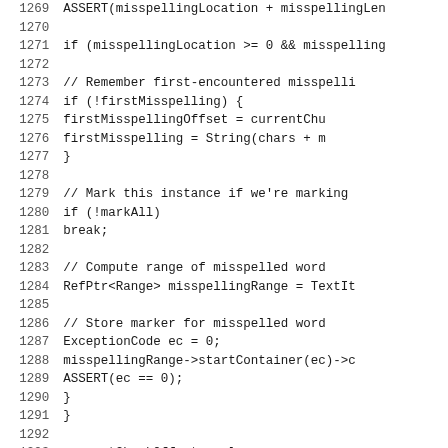[Figure (other): Source code listing in C++, lines 1269–1301, showing spell-check logic with misspelling detection, marker storage, chunk offset update, and a preprocessor directive #ifndef BUILDING_ON_TIGER.]